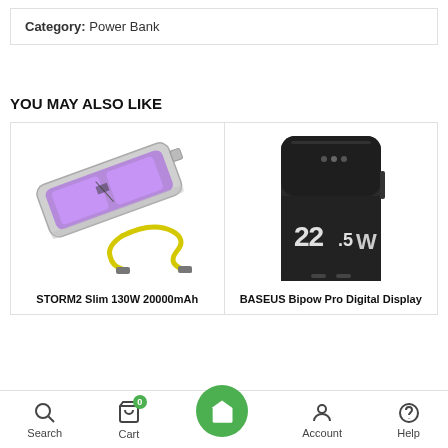Category: Power Bank
YOU MAY ALSO LIKE
[Figure (photo): STORM2 Slim 130W 20000mAh power bank with transparent casing showing purple glow and yellow USB-C cable]
STORM2 Slim 130W 20000mAh
[Figure (photo): BASEUS Bipow Pro Digital Display black power bank showing 22.5W on front]
BASEUS Bipow Pro Digital Display
Search  Cart  Home  Account  Help